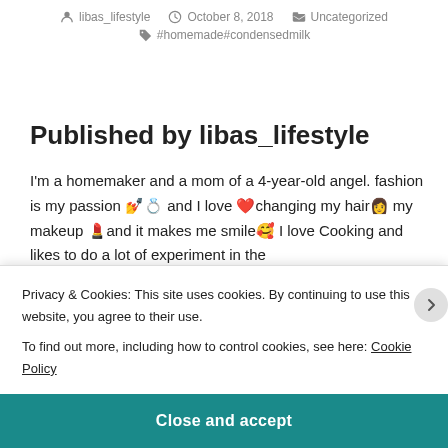libas_lifestyle  October 8, 2018  Uncategorized  #homemade#condensedmilk
Published by libas_lifestyle
I'm a homemaker and a mom of a 4-year-old angel. fashion is my passion 💅💍 and I love ❤️changing my hair👩 my makeup 💄and it makes me smile🥰 I love Cooking and likes to do a lot of experiment in the kitchen 🍊Mi...
Privacy & Cookies: This site uses cookies. By continuing to use this website, you agree to their use.
To find out more, including how to control cookies, see here: Cookie Policy
Close and accept